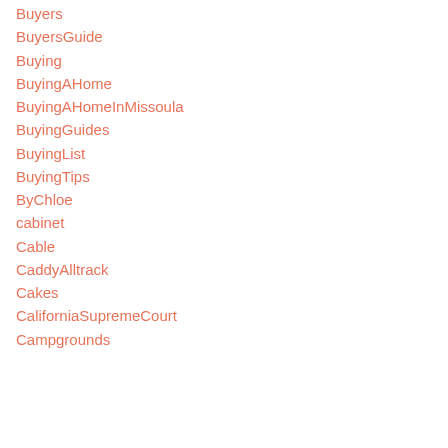Buyers
BuyersGuide
Buying
BuyingAHome
BuyingAHomeInMissoula
BuyingGuides
BuyingList
BuyingTips
ByChloe
cabinet
Cable
CaddyAlltrack
Cakes
CaliforniaSupremeCourt
Campgrounds